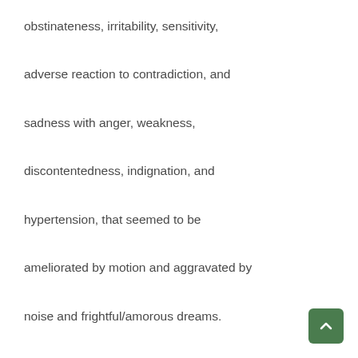obstinateness, irritability, sensitivity, adverse reaction to contradiction, and sadness with anger, weakness, discontentedness, indignation, and hypertension, that seemed to be ameliorated by motion and aggravated by noise and frightful/amorous dreams.

The remedies Staphysagria and Nux Vomica are indicative of the nucleus of the case, which is suppression of emotions, sensitivity and suppression of angry id